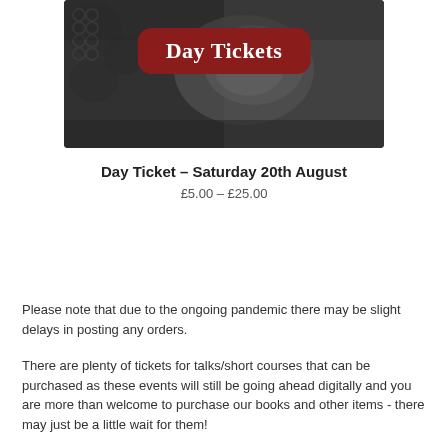[Figure (photo): Medieval armor/chainmail photo with dark metallic tones, overlaid with a dark red rounded badge reading 'Day Tickets' in white serif font]
Day Ticket – Saturday 20th August
£5.00 – £25.00
Please note that due to the ongoing pandemic there may be slight delays in posting any orders.
There are plenty of tickets for talks/short courses that can be purchased as these events will still be going ahead digitally and you are more than welcome to purchase our books and other items - there may just be a little wait for them!